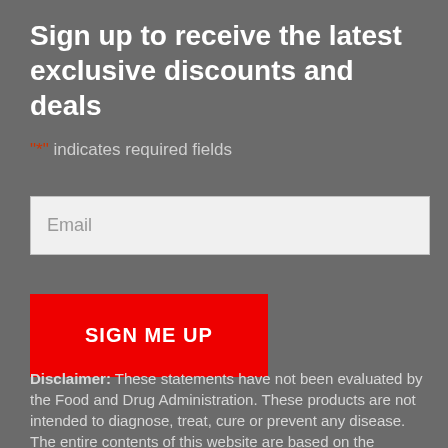Sign up to receive the latest exclusive discounts and deals
"*" indicates required fields
Email
SIGN ME UP
Disclaimer: These statements have not been evaluated by the Food and Drug Administration. These products are not intended to diagnose, treat, cure or prevent any disease. The entire contents of this website are based on the opinions of Prof. Birkmayer, unless otherwise noted. Individual articles